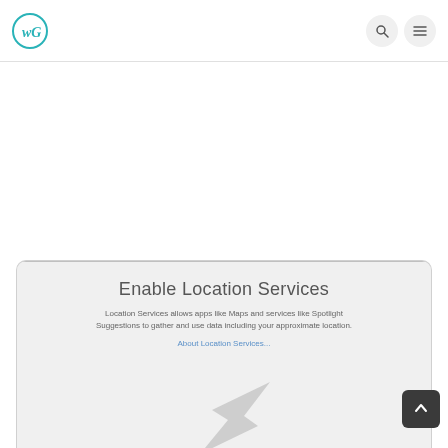WG logo and navigation icons (search, menu)
[Figure (screenshot): Enable Location Services dialog screenshot showing a modal card with title 'Enable Location Services', descriptive text, a link 'About Location Services...', and a compass/arrow graphic at the bottom.]
Enable Location Services
Location Services allows apps like Maps and services like Spotlight Suggestions to gather and use data including your approximate location.
About Location Services...